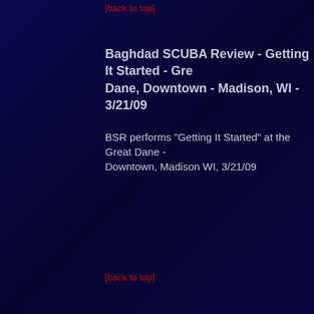[back to top]
Baghdad SCUBA Review - Getting It Started - Great Dane, Downtown - Madison, WI - 3/21/09
BSR performs "Getting It Started" at the Great Dane - Downtown, Madison WI, 3/21/09
[back to top]